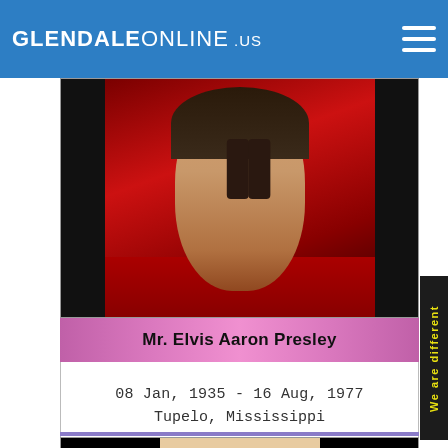GLENDALE ONLINE .us
[Figure (photo): Portrait photo of Elvis Presley wearing a red shirt against a dark/red background]
Mr. Elvis Aaron Presley
08 Jan, 1935 - 16 Aug, 1977
Tupelo, Mississippi
[Figure (photo): Portrait photo of a young man in a suit against a beige background]
We are different